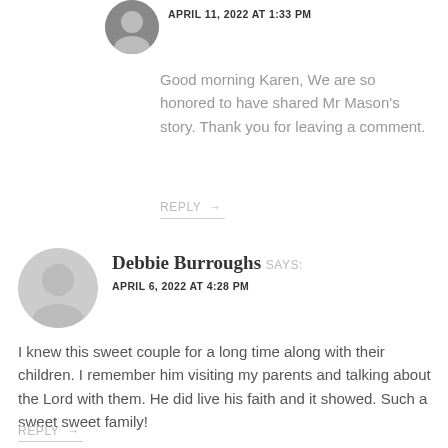APRIL 11, 2022 AT 1:33 PM
Good morning Karen, We are so honored to have shared Mr Mason's story. Thank you for leaving a comment.
REPLY →
Debbie Burroughs SAYS: APRIL 6, 2022 AT 4:28 PM
I knew this sweet couple for a long time along with their children. I remember him visiting my parents and talking about the Lord with them. He did live his faith and it showed. Such a sweet sweet family!
REPLY →